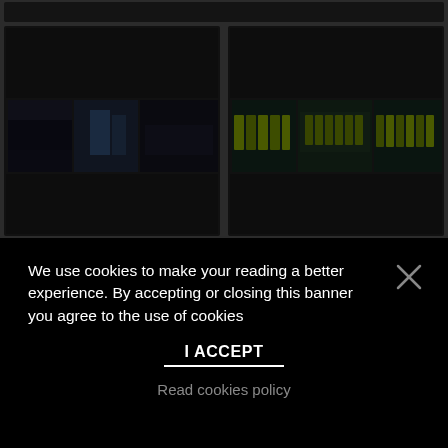[Figure (screenshot): Dark video gallery interface showing two rows of video thumbnails with filmstrip-style cells. Left panel shows close-up footage of workers/machinery. Right panel shows construction workers in yellow safety vests and hard hats lined up.]
We use cookies to make your reading a better experience. By accepting or closing this banner you agree to the use of cookies
I ACCEPT
Read cookies policy